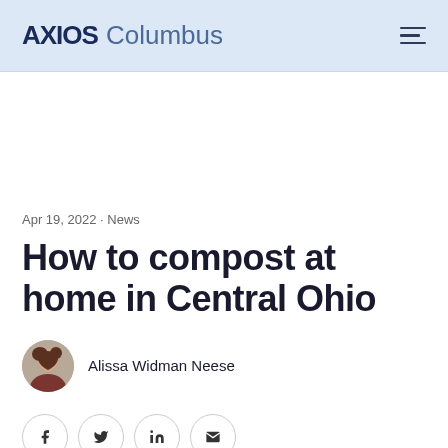AXIOS Columbus
Apr 19, 2022 - News
How to compost at home in Central Ohio
Alissa Widman Neese